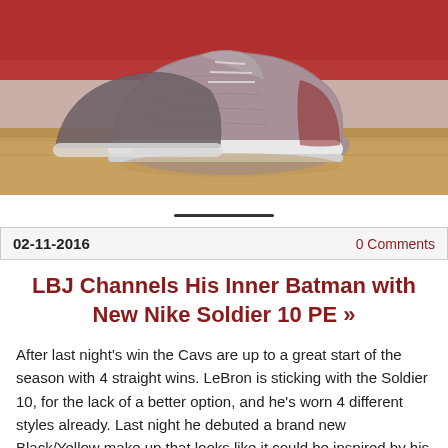[Figure (photo): Close-up photo of Nike LeBron Soldier 10 basketball sneakers on a hardwood court with red background]
02-11-2016    0 Comments
LBJ Channels His Inner Batman with New Nike Soldier 10 PE »
After last night's win the Cavs are up to a great start of the season with 4 straight wins. LeBron is sticking with the Soldier 10, for the lack of a better option, and he's worn 4 different styles already. Last night he debuted a brand new Black/Yellow make up that looks like it could be inspired by his favorite […]
Read More